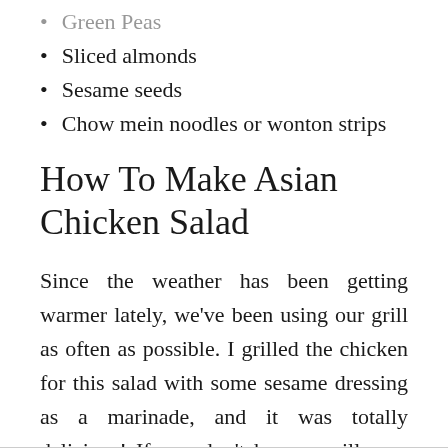Green Peas
Sliced almonds
Sesame seeds
Chow mein noodles or wonton strips
How To Make Asian Chicken Salad
Since the weather has been getting warmer lately, we've been using our grill as often as possible. I grilled the chicken for this salad with some sesame dressing as a marinade, and it was totally delicious! If you don't have a grill, you could easily cook the chicken in a skillet instead.